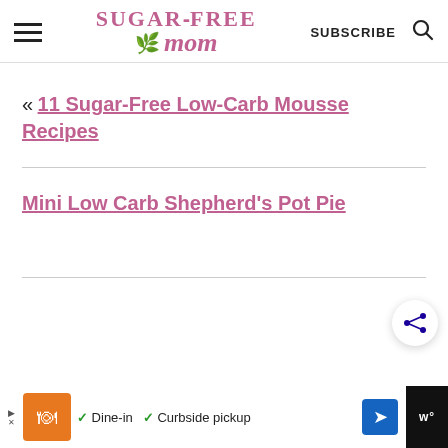Sugar-Free Mom — SUBSCRIBE
« 11 Sugar-Free Low-Carb Mousse Recipes
Mini Low Carb Shepherd's Pot Pie
[Figure (other): Advertisement bar with restaurant icon, Dine-in and Curbside pickup options]